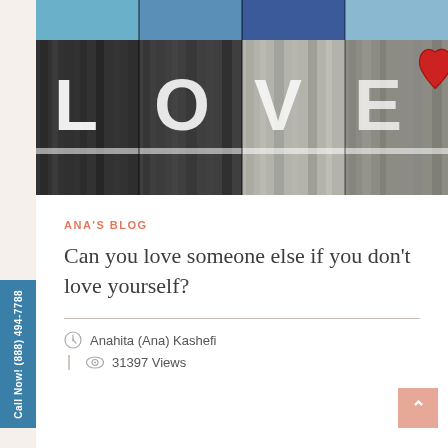[Figure (photo): Photo of wooden fence panels painted with the letters L, O, V, E and a red heart symbol. Top panels are blue/dark blue, bottom panels are black weathered wood with white graffiti-style text.]
ANA'S BLOG
Can you love someone else if you don't love yourself?
Anahita (Ana) Kashefi
31397 Views
Call Now! (888) 494-7788